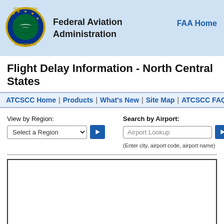[Figure (logo): FAA circular seal/logo with eagle and globe, green and gold on dark blue background]
Federal Aviation Administration
FAA Home
Flight Delay Information - North Central States
ATCSCC Home | Products | What's New | Site Map | ATCSCC FAQ |
View by Region:
Select a Region
Search by Airport:
Airport Lookup
(Enter city, airport code, airport name)